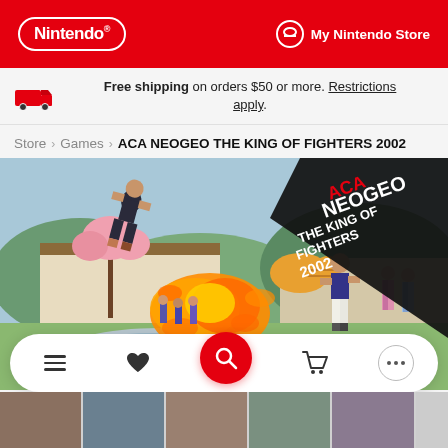Nintendo | My Nintendo Store
Free shipping on orders $50 or more. Restrictions apply.
Store > Games > ACA NEOGEO THE KING OF FIGHTERS 2002
[Figure (screenshot): ACA NEOGEO The King of Fighters 2002 game cover art showing two fighters in a Japanese garden setting with fire effects, and the game logo in the top right corner]
[Figure (screenshot): Bottom navigation bar with hamburger menu, heart/wishlist, search (red circle), cart, and dots/more icons, plus a thumbnail strip of game images at the bottom]